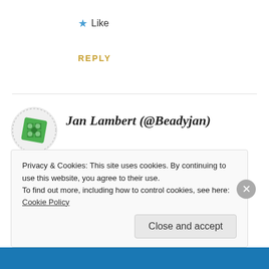★ Like
REPLY
[Figure (logo): Green geometric/quilt pattern avatar icon for Jan Lambert (@Beadyjan)]
Jan Lambert (@Beadyjan)
15/08/2016 AT 8:05 AM
Great interview and the book sounds great too – good luck with it
Privacy & Cookies: This site uses cookies. By continuing to use this website, you agree to their use.
To find out more, including how to control cookies, see here: Cookie Policy
Close and accept